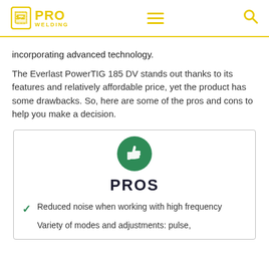PRO WELDING
incorporating advanced technology.
The Everlast PowerTIG 185 DV stands out thanks to its features and relatively affordable price, yet the product has some drawbacks. So, here are some of the pros and cons to help you make a decision.
[Figure (infographic): Green circular icon with thumbs up symbol above PROS heading]
PROS
Reduced noise when working with high frequency
Variety of modes and adjustments: pulse,